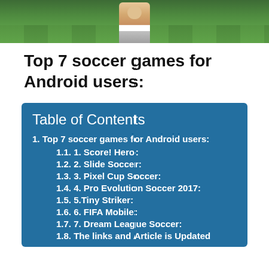[Figure (photo): A soccer player on a green grass field, partially cropped at the top of the page.]
Top 7 soccer games for Android users:
| Table of Contents |
| --- |
| 1. Top 7 soccer games for Android users: |
| 1.1. 1. Score! Hero: |
| 1.2. 2. Slide Soccer: |
| 1.3. 3. Pixel Cup Soccer: |
| 1.4. 4. Pro Evolution Soccer 2017: |
| 1.5. 5.Tiny Striker: |
| 1.6. 6. FIFA Mobile: |
| 1.7. 7. Dream League Soccer: |
| 1.8. The links and Article is Updated |